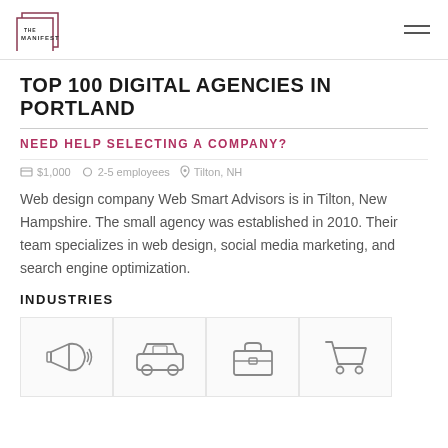THE MANIFEST
TOP 100 DIGITAL AGENCIES IN PORTLAND
NEED HELP SELECTING A COMPANY?
$1,000   2-5 employees   Tilton, NH
Web design company Web Smart Advisors is in Tilton, New Hampshire. The small agency was established in 2010. Their team specializes in web design, social media marketing, and search engine optimization.
INDUSTRIES
[Figure (illustration): Four industry icons in grid cells: megaphone/advertising, car/automotive, briefcase/business services, shopping cart/e-commerce]